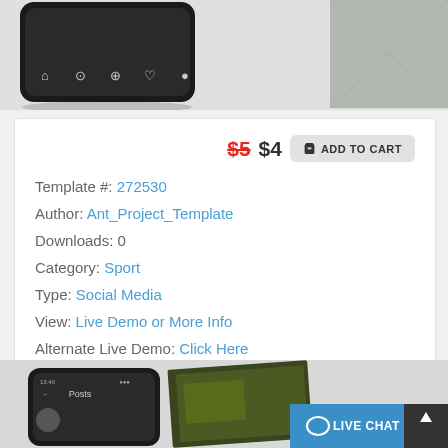[Figure (screenshot): Top portion of phone mockup with navigation bar icons visible, and partial image to the right on grey background]
$5 $4 ADD TO CART
Template #: 272530
Author: Ant_Project_Template
Downloads: 0
Category: Sport
Type: Social Media
View: Live Demo or More Info
Alternate Live Demo: Click Here
[Figure (screenshot): Bottom portion showing phone mockup with Posts header and a dark nature/sport image on the right; LIVE CHAT button and scroll-up button visible]